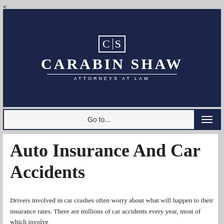[Figure (logo): Carabin Shaw Attorneys at Law logo — white CS monogram in a box on dark navy background with firm name in large serif capitals and 'ATTORNEYS AT LAW' in spaced small caps]
Go to...
Auto Insurance And Car Accidents
Drivers involved in car crashes often worry about what will happen to their insurance rates. There are millions of car accidents every year, most of which involve